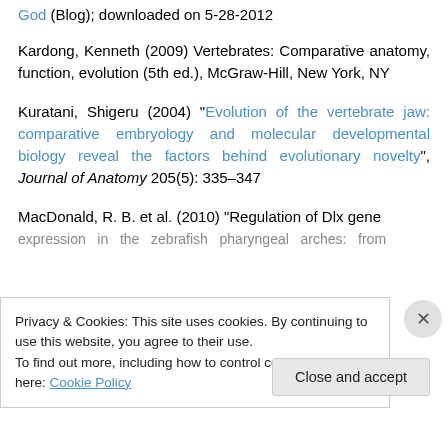God (Blog); downloaded on 5-28-2012
Kardong, Kenneth (2009) Vertebrates: Comparative anatomy, function, evolution (5th ed.), McGraw-Hill, New York, NY
Kuratani, Shigeru (2004) "Evolution of the vertebrate jaw: comparative embryology and molecular developmental biology reveal the factors behind evolutionary novelty", Journal of Anatomy 205(5): 335–347
MacDonald, R. B. et al. (2010) "Regulation of Dlx gene expression in the zebrafish pharyngeal arches: from...
Privacy & Cookies: This site uses cookies. By continuing to use this website, you agree to their use. To find out more, including how to control cookies, see here: Cookie Policy